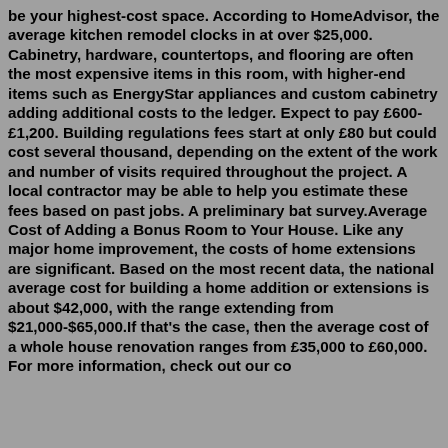be your highest-cost space. According to HomeAdvisor, the average kitchen remodel clocks in at over $25,000. Cabinetry, hardware, countertops, and flooring are often the most expensive items in this room, with higher-end items such as EnergyStar appliances and custom cabinetry adding additional costs to the ledger. Expect to pay £600-£1,200. Building regulations fees start at only £80 but could cost several thousand, depending on the extent of the work and number of visits required throughout the project. A local contractor may be able to help you estimate these fees based on past jobs. A preliminary bat survey.Average Cost of Adding a Bonus Room to Your House. Like any major home improvement, the costs of home extensions are significant. Based on the most recent data, the national average cost for building a home addition or extensions is about $42,000, with the range extending from $21,000-$65,000.If that's the case, then the average cost of a whole house renovation ranges from £35,000 to £60,000. For more information, check out our cost...